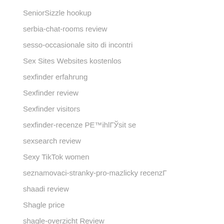SeniorSizzle hookup
serbia-chat-rooms review
sesso-occasionale sito di incontri
Sex Sites Websites kostenlos
sexfinder erfahrung
Sexfinder review
Sexfinder visitors
sexfinder-recenze PE™ihlГЎsit se
sexsearch review
Sexy TikTok women
seznamovaci-stranky-pro-mazlicky recenzГ
shaadi review
Shagle price
shagle-overzicht Review
short term installment loans